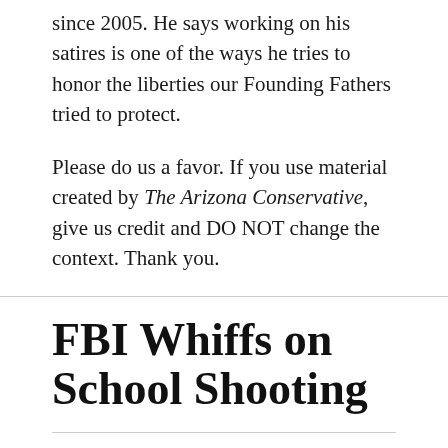since 2005. He says working on his satires is one of the ways he tries to honor the liberties our Founding Fathers tried to protect.
Please do us a favor. If you use material created by The Arizona Conservative, give us credit and DO NOT change the context. Thank you.
FBI Whiffs on School Shooting
ON FEBRUARY 17, 2018 / BY AZ CONSERVATIVE